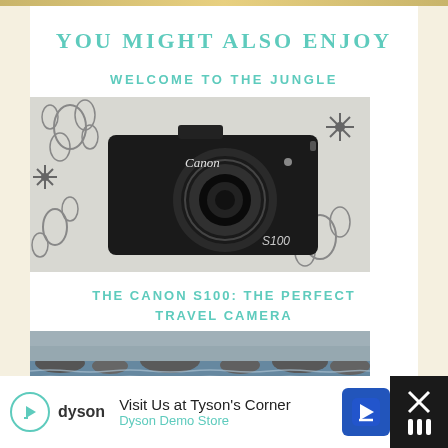YOU MIGHT ALSO ENJOY
WELCOME TO THE JUNGLE
[Figure (photo): Black Canon S100 compact digital camera on a floral patterned fabric background]
THE CANON S100: THE PERFECT TRAVEL CAMERA
[Figure (photo): Water flowing over rocks, landscape/nature scene]
Visit Us at Tyson's Corner Dyson Demo Store